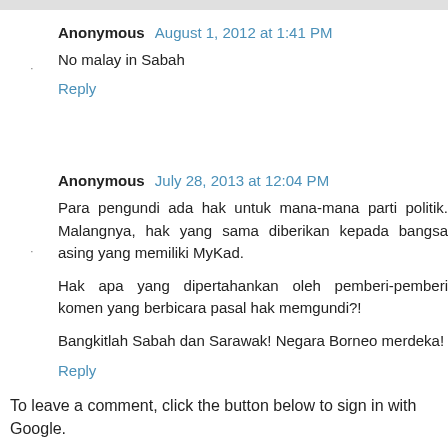Anonymous  August 1, 2012 at 1:41 PM
No malay in Sabah
Reply
Anonymous  July 28, 2013 at 12:04 PM
Para pengundi ada hak untuk mana-mana parti politik. Malangnya, hak yang sama diberikan kepada bangsa asing yang memiliki MyKad.
Hak apa yang dipertahankan oleh pemberi-pemberi komen yang berbicara pasal hak memgundi?!
Bangkitlah Sabah dan Sarawak! Negara Borneo merdeka!
Reply
To leave a comment, click the button below to sign in with Google.